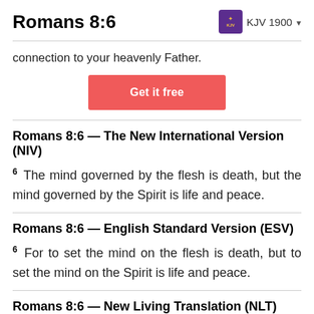Romans 8:6   KJV 1900
connection to your heavenly Father.
Get it free
Romans 8:6 — The New International Version (NIV)
6 The mind governed by the flesh is death, but the mind governed by the Spirit is life and peace.
Romans 8:6 — English Standard Version (ESV)
6 For to set the mind on the flesh is death, but to set the mind on the Spirit is life and peace.
Romans 8:6 — New Living Translation (NLT)